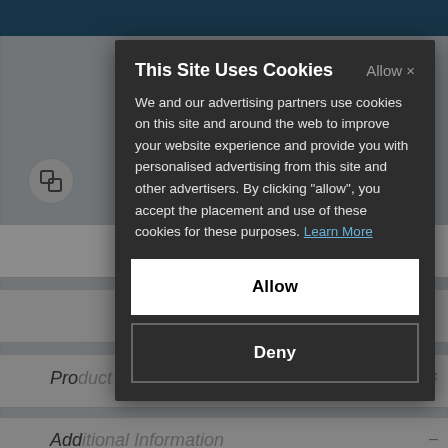[Figure (screenshot): Background website page partially visible behind a cookie consent modal dialog. Shows a teal/dark blue top navigation bar, a circular icon button, and several accordion rows labeled 'Product Description', 'Additional Information', 'Delivery', 'Returns'.]
This Site Uses Cookies
We and our advertising partners use cookies on this site and around the web to improve your website experience and provide you with personalised advertising from this site and other advertisers. By clicking "allow", you accept the placement and use of these cookies for these purposes. Learn More
Allow
Deny